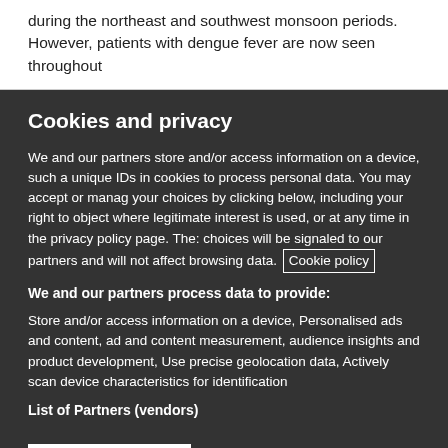during the northeast and southwest monsoon periods. However, patients with dengue fever are now seen throughout
Cookies and privacy
We and our partners store and/or access information on a device, such as unique IDs in cookies to process personal data. You may accept or manage your choices by clicking below, including your right to object where legitimate interest is used, or at any time in the privacy policy page. These choices will be signaled to our partners and will not affect browsing data. Cookie policy
We and our partners process data to provide:
Store and/or access information on a device, Personalised ads and content, ad and content measurement, audience insights and product development, Use precise geolocation data, Actively scan device characteristics for identification
List of Partners (vendors)